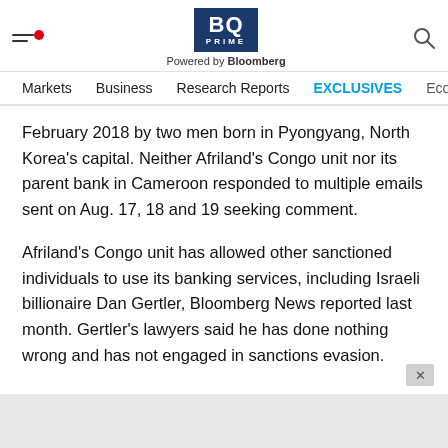BQ PRIME — Powered by Bloomberg
Markets | Business | Research Reports | EXCLUSIVES | Economy
February 2018 by two men born in Pyongyang, North Korea's capital. Neither Afriland's Congo unit nor its parent bank in Cameroon responded to multiple emails sent on Aug. 17, 18 and 19 seeking comment.
Afriland's Congo unit has allowed other sanctioned individuals to use its banking services, including Israeli billionaire Dan Gertler, Bloomberg News reported last month. Gertler's lawyers said he has done nothing wrong and has not engaged in sanctions evasion.